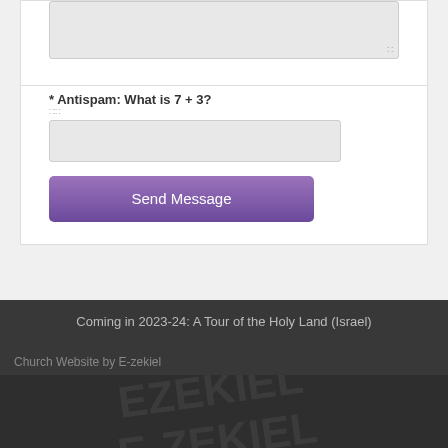* Antispam: What is 7 + 3?
Send Message
Coming in 2023-24: A Tour of the Holy Land (Israel)
Church Website by E-zekiel